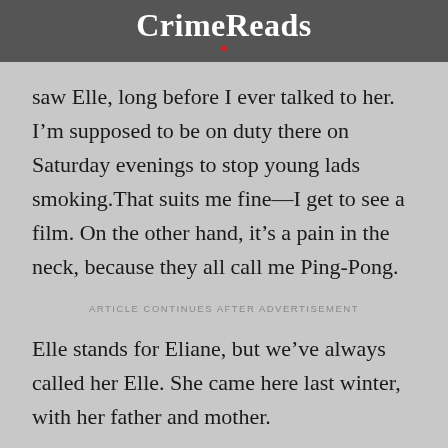CrimeReads
saw Elle, long before I ever talked to her. I'm supposed to be on duty there on Saturday evenings to stop young lads smoking.That suits me fine—I get to see a film. On the other hand, it's a pain in the neck, because they all call me Ping-Pong.
ARTICLE CONTINUES AFTER ADVERTISEMENT
Elle stands for Eliane, but we've always called her Elle. She came here last winter, with her father and mother.